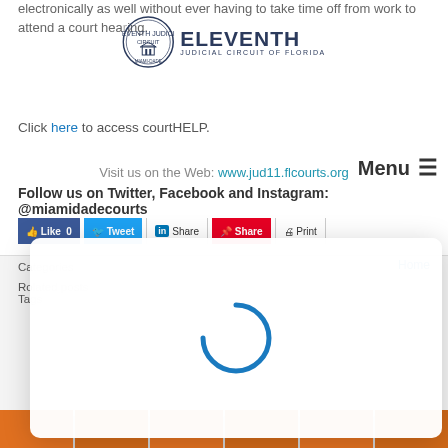electronically as well without ever having to take time off from work to attend a court hearing.
[Figure (logo): Eleventh Judicial Circuit of Florida seal and wordmark logo]
Click here to access courtHELP.
Visit us on the Web: www.jud11.flcourts.org
Menu ≡
Follow us on Twitter, Facebook and Instagram: @miamidadecourts
[Figure (screenshot): Social sharing buttons: Like 0, Tweet, Share (LinkedIn), Share (Pinterest), Print]
[Figure (other): Loading spinner modal overlay on a light background]
Categories | Related posts | Home
Tags
[Figure (screenshot): App thumbnails strip at the bottom of the page]